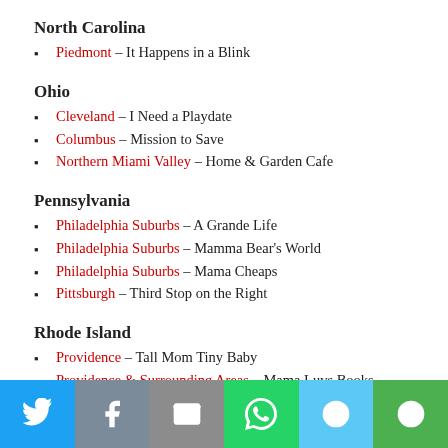North Carolina
Piedmont – It Happens in a Blink
Ohio
Cleveland – I Need a Playdate
Columbus – Mission to Save
Northern Miami Valley – Home & Garden Cafe
Pennsylvania
Philadelphia Suburbs – A Grande Life
Philadelphia Suburbs – Mamma Bear's World
Philadelphia Suburbs – Mama Cheaps
Pittsburgh – Third Stop on the Right
Rhode Island
Providence – Tall Mom Tiny Baby
Providence & Surrounding Areas – Mama Luvs Books
South Carolina